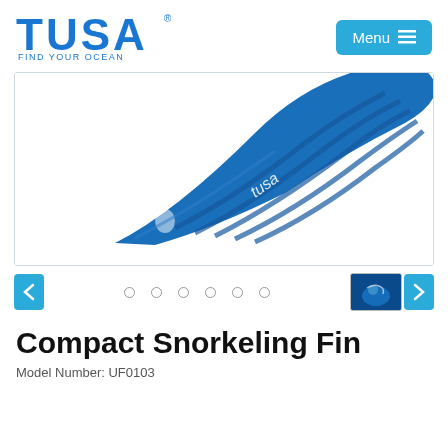[Figure (logo): TUSA logo with tagline FIND YOUR OCEAN in blue]
[Figure (screenshot): Menu button with hamburger icon on teal/blue background]
[Figure (photo): Blue TUSA compact snorkeling fins product photo, top portion visible, blue color with tusa branding]
[Figure (photo): Thumbnail of diver underwater on the right side navigation]
Compact Snorkeling Fin
Model Number: UF0103